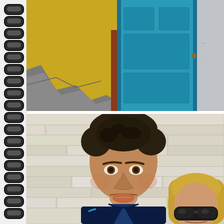[Figure (photo): Spiral-bound notebook page with two photos. Top photo shows a yellow-painted wall with worn concrete steps and a bright turquoise/blue painted wooden door against a light grey wall. Bottom photo shows a middle-aged man with curly dark hair wearing a navy blue polo shirt with turquoise trim, making a pouty face, and a blonde woman wearing dark sunglasses, both standing in front of a white stacked-stone brick wall.]